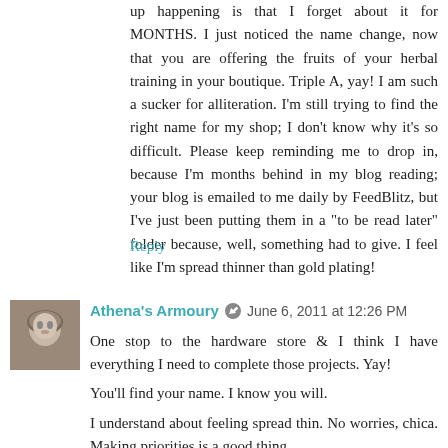up happening is that I forget about it for MONTHS. I just noticed the name change, now that you are offering the fruits of your herbal training in your boutique. Triple A, yay! I am such a sucker for alliteration. I'm still trying to find the right name for my shop; I don't know why it's so difficult. Please keep reminding me to drop in, because I'm months behind in my blog reading; your blog is emailed to me daily by FeedBlitz, but I've just been putting them in a "to be read later" folder because, well, something had to give. I feel like I'm spread thinner than gold plating!
Reply
Athena's Armoury   June 6, 2011 at 12:26 PM
One stop to the hardware store & I think I have everything I need to complete those projects. Yay!
You'll find your name. I know you will.
I understand about feeling spread thin. No worries, chica. Making priorities is a good thing.